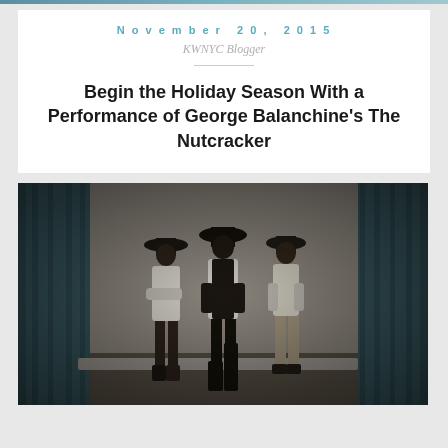November 20, 2015
KWNYC Blogger
Begin the Holiday Season With a Performance of George Balanchine's The Nutcracker
[Figure (photo): Three people in hats and light shirts standing in a rehearsal space with teal/blue curtains on either side, photographed in a dark, moody style from below]